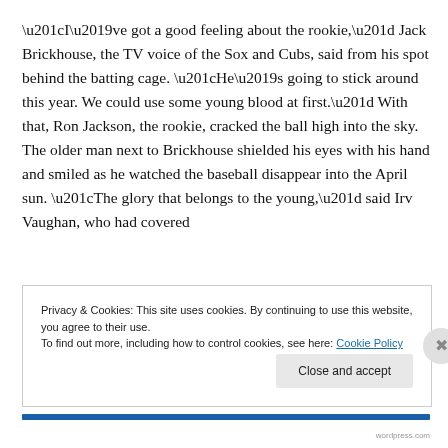“I’ve got a good feeling about the rookie,” Jack Brickhouse, the TV voice of the Sox and Cubs, said from his spot behind the batting cage. “He’s going to stick around this year. We could use some young blood at first.” With that, Ron Jackson, the rookie, cracked the ball high into the sky. The older man next to Brickhouse shielded his eyes with his hand and smiled as he watched the baseball disappear into the April sun. “The glory that belongs to the young,” said Irv Vaughan, who had covered
Privacy & Cookies: This site uses cookies. By continuing to use this website, you agree to their use.
To find out more, including how to control cookies, see here: Cookie Policy
Close and accept